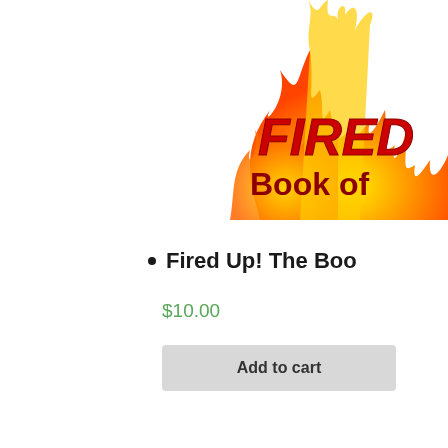[Figure (illustration): Book cover for 'Fired Up! Book of ...' showing flames in orange and yellow at the top, with bold red italic text 'FIRED' and below it dark red bold text 'Book of' on a white background. The image is cropped on the right side.]
Fired Up! The Boo...
$10.00
Add to cart